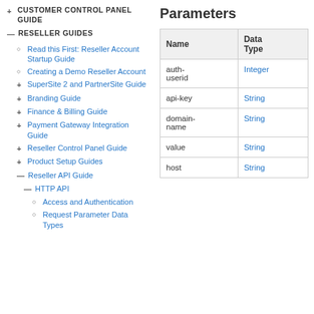+ CUSTOMER CONTROL PANEL GUIDE
— RESELLER GUIDES
○ Read this First: Reseller Account Startup Guide
○ Creating a Demo Reseller Account
+ SuperSite 2 and PartnerSite Guide
+ Branding Guide
+ Finance & Billing Guide
+ Payment Gateway Integration Guide
+ Reseller Control Panel Guide
+ Product Setup Guides
— Reseller API Guide
— HTTP API
○ Access and Authentication
○ Request Parameter Data Types
Parameters
| Name | Data Type |
| --- | --- |
| auth-userid | Integer |
| api-key | String |
| domain-name | String |
| value | String |
| host | String |